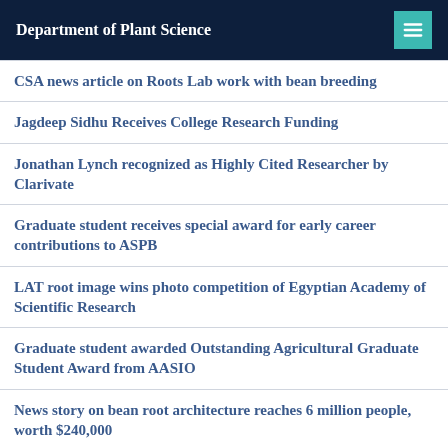Department of Plant Science
CSA news article on Roots Lab work with bean breeding
Jagdeep Sidhu Receives College Research Funding
Jonathan Lynch recognized as Highly Cited Researcher by Clarivate
Graduate student receives special award for early career contributions to ASPB
LAT root image wins photo competition of Egyptian Academy of Scientific Research
Graduate student awarded Outstanding Agricultural Graduate Student Award from AASIO
News story on bean root architecture reaches 6 million people, worth $240,000
Bean root architecture results highlighted in CSC...